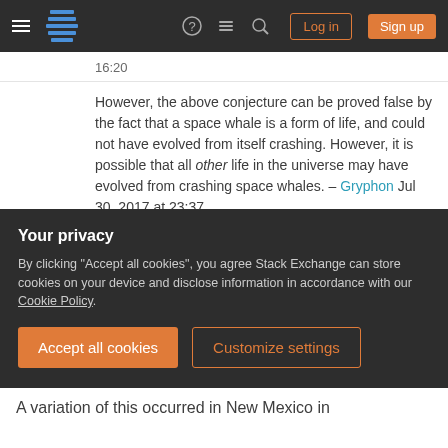Stack Exchange navigation bar with hamburger menu, logo, icons, Log in and Sign up buttons
16:20
However, the above conjecture can be proved false by the fact that a space whale is a form of life, and could not have evolved from itself crashing. However, it is possible that all other life in the universe may have evolved from crashing space whales. – Gryphon Jul 30, 2017 at 23:37
Add a comment
As far as life springing forth from the corpse of the whale, I'm not quite certain that could happen.
Your privacy
By clicking "Accept all cookies", you agree Stack Exchange can store cookies on your device and disclose information in accordance with our Cookie Policy.
Accept all cookies
Customize settings
A variation of this occurred in New Mexico in